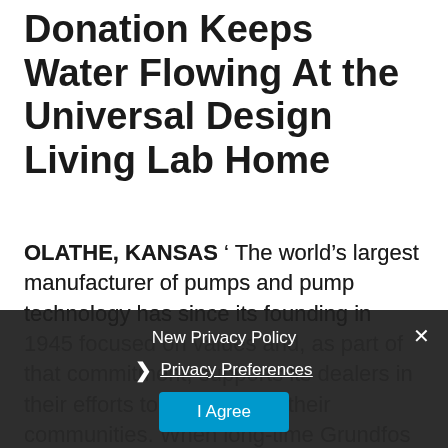Donation Keeps Water Flowing At the Universal Design Living Lab Home
OLATHE, KANSAS ' The world's largest manufacturer of pumps and pump technology has since its founding in 1945 focused on values and, as part of that commitment, supports its dealers in their efforts to give back to their communities. When long-time Grundfos dealer, Beinhower Brothers Drilling Co. (Johnstown, Ohio) president Brad Ulep sought the manufacturer's support for a unique demonstration, Columbus district sales manager Jim Cole responded with the only answer possible ' of course. People can check their homepage if they
New Privacy Policy
› Privacy Preferences
I Agree